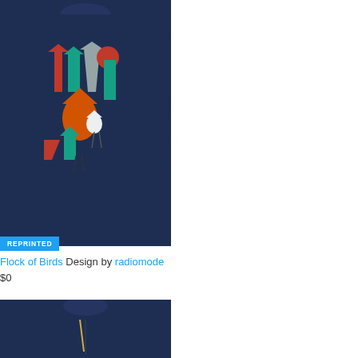[Figure (photo): Man wearing navy blue sweatshirt with colorful flock of birds graphic design. Badge overlay says REPRINTED in blue.]
REPRINTED
Flock of Birds Design by radiomode
$0
[Figure (photo): Partial view of man wearing navy blue sweatshirt, cropped at chest level.]